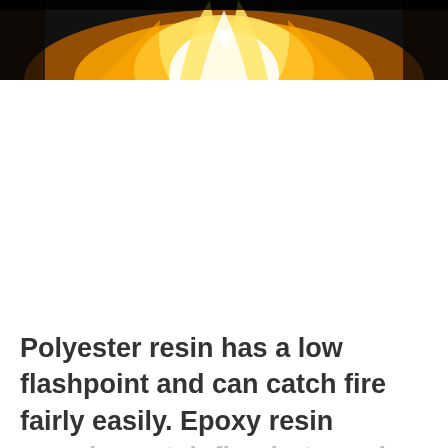[Figure (photo): Close-up photo of fire with bright yellow-orange flames against a dark background]
Polyester resin has a low flashpoint and can catch fire fairly easily. Epoxy resin can also catch fire, but requires a higher